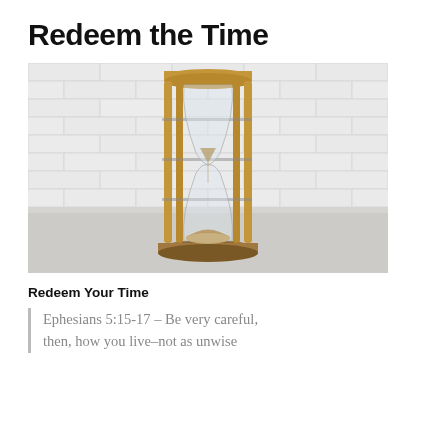Redeem the Time
[Figure (photo): Photograph of a wooden hourglass with sand, set against a white brick wall background. The hourglass has wooden top and bottom discs connected by wooden pillars. Sand has mostly fallen to the bottom.]
Redeem Your Time
Ephesians 5:15-17 – Be very careful, then, how you live–not as unwise